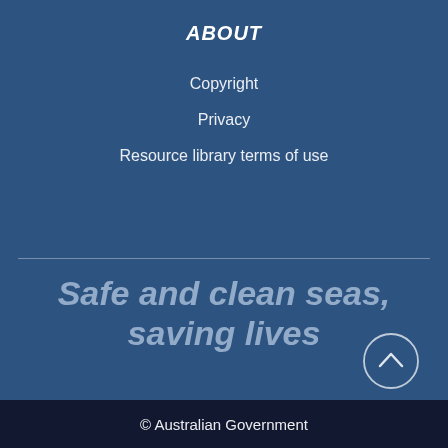ABOUT
Copyright
Privacy
Resource library terms of use
Safe and clean seas, saving lives
© Australian Government